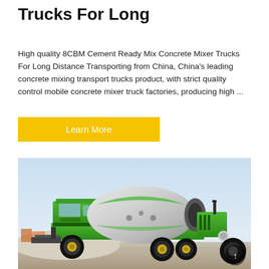Trucks For Long
High quality 8CBM Cement Ready Mix Concrete Mixer Trucks For Long Distance Transporting from China, China's leading concrete mixing transport trucks product, with strict quality control mobile concrete mixer truck factories, producing high ...
Learn More
[Figure (photo): A green self-loading concrete mixer truck photographed outdoors at a construction/quarry site with a pale blue sky background. The truck has a large rotating drum, a front loader attachment, and visible black tires with gold wheel hubs.]